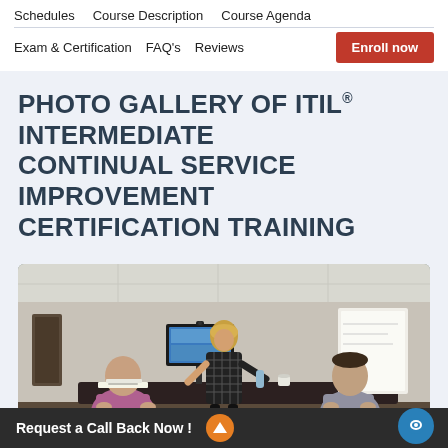Schedules   Course Description   Course Agenda
Exam & Certification   FAQ's   Reviews
PHOTO GALLERY OF ITIL® INTERMEDIATE CONTINUAL SERVICE IMPROVEMENT CERTIFICATION TRAINING
[Figure (photo): Training room with three people: a bald man in a purple shirt seated on the left, a woman in a black dress standing and presenting at a monitor in the center, and a man in a gray shirt seated on the right. A whiteboard is visible in the background.]
Request a Call Back Now !